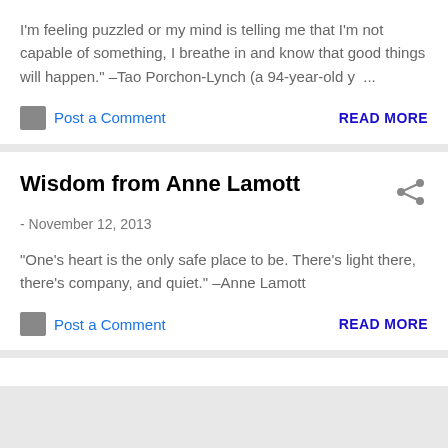I'm feeling puzzled or my mind is telling me that I'm not capable of something, I breathe in and know that good things will happen." –Tao Porchon-Lynch (a 94-year-old y ...
Post a Comment
READ MORE
Wisdom from Anne Lamott
- November 12, 2013
"One's heart is the only safe place to be. There's light there, there's company, and quiet." –Anne Lamott
Post a Comment
READ MORE